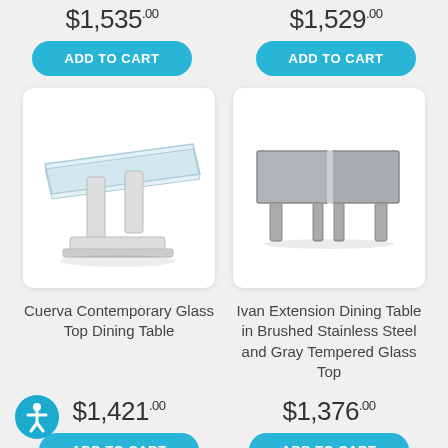$1,535.00
$1,529.00
ADD TO CART
ADD TO CART
[Figure (photo): Cuerva Contemporary Glass Top Dining Table with white pedestal base and clear glass top]
[Figure (photo): Ivan Extension Dining Table in Brushed Stainless Steel and Gray Tempered Glass Top, shown extended]
Cuerva Contemporary Glass Top Dining Table
Ivan Extension Dining Table in Brushed Stainless Steel and Gray Tempered Glass Top
$1,421.00
$1,376.00
ADD TO CART
ADD TO CART